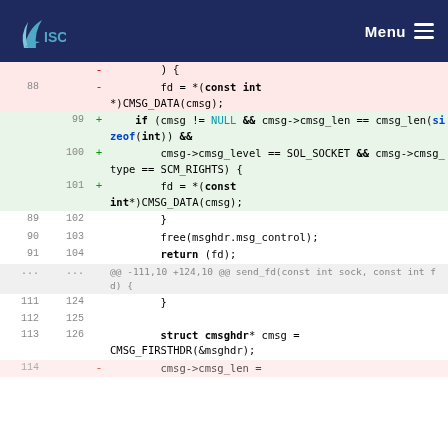ISC Menu
[Figure (screenshot): Code diff view showing removed and added lines in a C source file. Lines 88-91 removed (pink), lines 99-101 added (green), context lines 89-91/102-104, hunk header, lines 111-113/124-126, and partial line 114.]